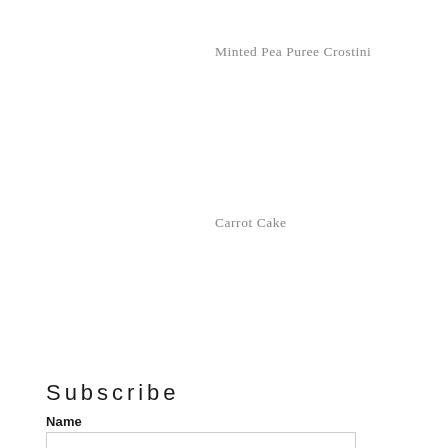Minted Pea Puree Crostini
Carrot Cake
Subscribe
Name